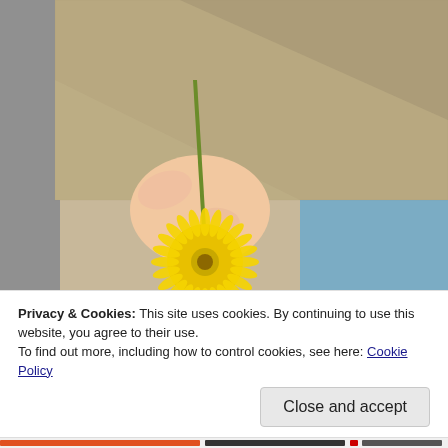[Figure (photo): Close-up photograph of a child's hand holding a yellow dandelion flower. The child is wearing a beige/tan woven jacket and blue pants. The background shows a blurred outdoor setting.]
Privacy & Cookies: This site uses cookies. By continuing to use this website, you agree to their use.
To find out more, including how to control cookies, see here: Cookie Policy
Close and accept